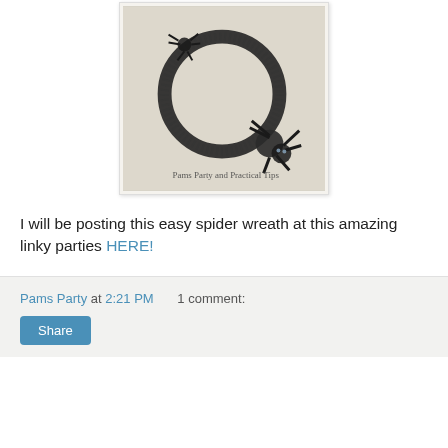[Figure (photo): Photo of a black pipe cleaner spider wreath craft — a circular wreath shape made from black fuzzy wire with a small spider figure attached, on a light background. Watermark text reads 'Pams Party and Practical Tips'.]
I will be posting this easy spider wreath at this amazing linky parties HERE!
Pams Party at 2:21 PM   1 comment:
Share